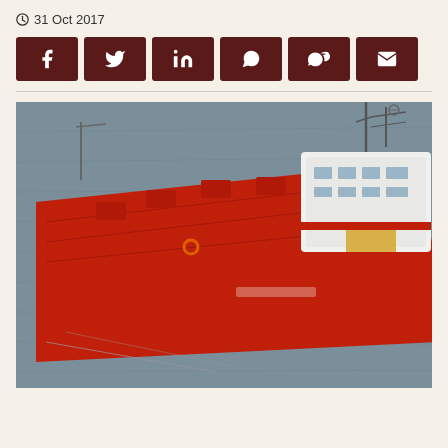31 Oct 2017
[Figure (other): Social media share buttons: Facebook, Twitter, LinkedIn, WhatsApp, WeChat, Email]
[Figure (photo): Aerial view of two red cargo/tanker ships docked side by side on grey water. The larger red ship has white superstructure and communications mast. A smaller green vessel is visible alongside.]